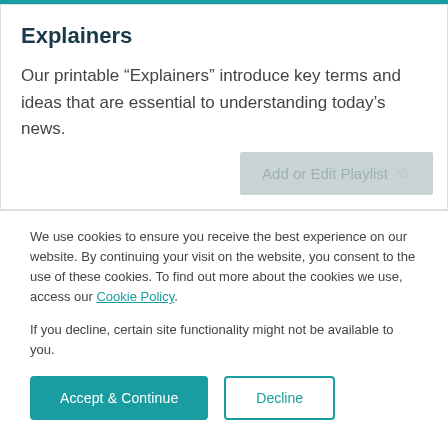Explainers
Our printable “Explainers” introduce key terms and ideas that are essential to understanding today’s news.
We use cookies to ensure you receive the best experience on our website. By continuing your visit on the website, you consent to the use of these cookies. To find out more about the cookies we use, access our Cookie Policy.
If you decline, certain site functionality might not be available to you.